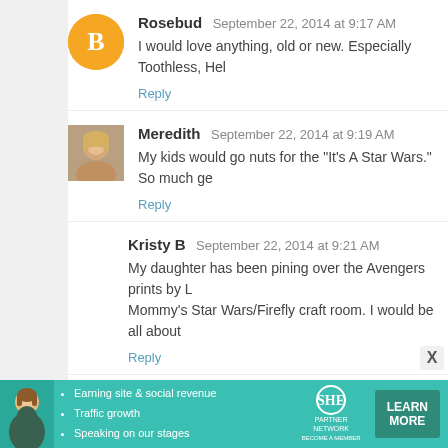Rosebud  September 22, 2014 at 9:17 AM
I would love anything, old or new. Especially Toothless, Hel
Reply
Meredith  September 22, 2014 at 9:19 AM
My kids would go nuts for the "It's A Star Wars." So much ge
Reply
Kristy B  September 22, 2014 at 9:21 AM
My daughter has been pining over the Avengers prints by L Mommy's Star Wars/Firefly craft room. I would be all about
Reply
Melinda  September 22, 2014 at 9:21 AM
I want the Hello Pony. Those are my 5 year olds' two favorit
Reply
[Figure (infographic): SHE Partner Network advertisement banner with bullet points: Earning site & social revenue, Traffic growth, Speaking on our stages. Includes a LEARN MORE button and a woman's photo.]